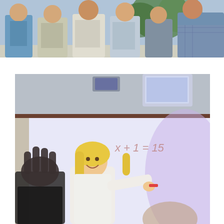[Figure (photo): Group of students/people standing together outdoors, wearing school uniforms in blue and white/gray tones, with plants visible in the background.]
[Figure (photo): A smiling blonde female teacher pointing toward the camera in a classroom, with a whiteboard/smartboard behind her showing the equation 'x + 1 = 15'. A student's raised hand is visible in the foreground on the left.]